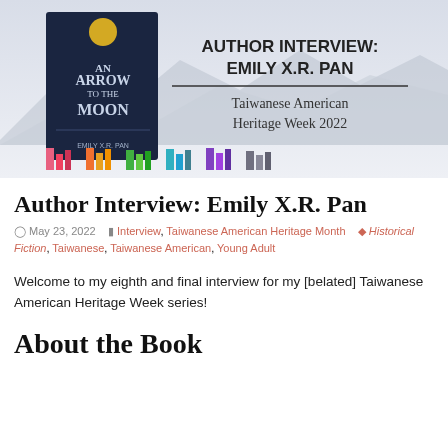[Figure (illustration): Banner image for Author Interview: Emily X.R. Pan, featuring the book cover of 'An Arrow to the Moon' by Emily X.R. Pan on the left, with text 'AUTHOR INTERVIEW: EMILY X.R. PAN' and 'Taiwanese American Heritage Week 2022' on the right, and a row of colorful illustrated books along the bottom, set against a misty mountain background.]
Author Interview: Emily X.R. Pan
May 23, 2022   Interview, Taiwanese American Heritage Month   Historical Fiction, Taiwanese, Taiwanese American, Young Adult
Welcome to my eighth and final interview for my [belated] Taiwanese American Heritage Week series!
About the Book